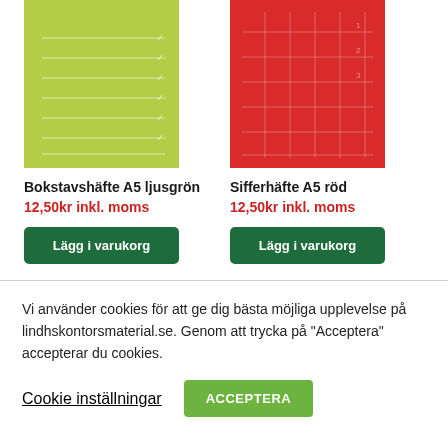[Figure (illustration): Green notebook (Bokstavshäfte A5 ljusgrön) product image, light green cover with horizontal ruled lines]
[Figure (illustration): Red notebook (Sifferhäfte A5 röd) product image, red cover with grid lines]
Bokstavshäfte A5 ljusgrön
12,50kr inkl. moms
Lägg i varukorg
Sifferhäfte A5 röd
12,50kr inkl. moms
Lägg i varukorg
Vi använder cookies för att ge dig bästa möjliga upplevelse på lindhskontorsmaterial.se. Genom att trycka på "Acceptera" accepterar du cookies.
Cookie inställningar
ACCEPTERA